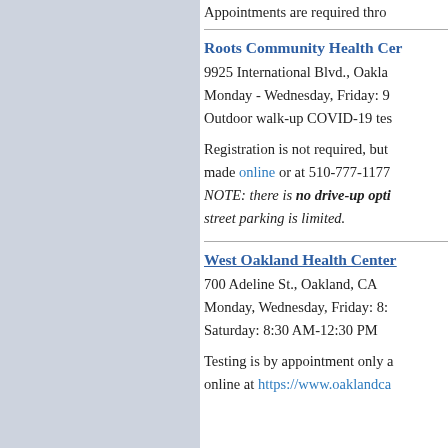Appointments are required thro
Roots Community Health Center
9925 International Blvd., Oakland, CA
Monday - Wednesday, Friday: 9 AM - ...
Outdoor walk-up COVID-19 testing
Registration is not required, but appointments can be made online or at 510-777-1177
NOTE: there is no drive-up option and street parking is limited.
West Oakland Health Center
700 Adeline St., Oakland, CA
Monday, Wednesday, Friday: 8: ...
Saturday: 8:30 AM-12:30 PM
Testing is by appointment only and can be scheduled online at https://www.oaklandca...